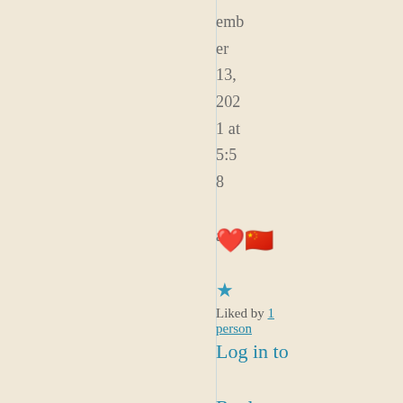ember 13, 2021 at 5:58 am
[Figure (other): Two emoji icons: a red heart and a Chinese flag heart emoji]
[Figure (other): Blue star icon]
Liked by 1 person
Log in to Reply